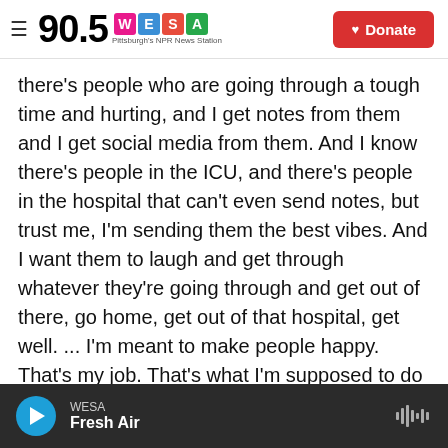90.5 WESA Pittsburgh's NPR News Station | Donate
there's people who are going through a tough time and hurting, and I get notes from them and I get social media from them. And I know there's people in the ICU, and there's people in the hospital that can't even send notes, but trust me, I'm sending them the best vibes. And I want them to laugh and get through whatever they're going through and get out of there, go home, get out of that hospital, get well. ... I'm meant to make people happy. That's my job. That's what I'm supposed to do on this earth. And I'm going to do whatever I can to make people happy.
WESA Fresh Air